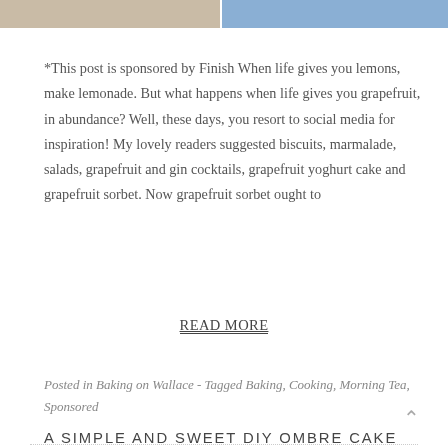[Figure (photo): Two cropped images at top: left shows a white plate on wooden surface, right shows colorful floral fabric pattern]
*This post is sponsored by Finish When life gives you lemons, make lemonade. But what happens when life gives you grapefruit, in abundance? Well, these days, you resort to social media for inspiration! My lovely readers suggested biscuits, marmalade, salads, grapefruit and gin cocktails, grapefruit yoghurt cake and grapefruit sorbet. Now grapefruit sorbet ought to
READ MORE
Posted in Baking on Wallace - Tagged Baking, Cooking, Morning Tea, Sponsored
A SIMPLE AND SWEET DIY OMBRE CAKE